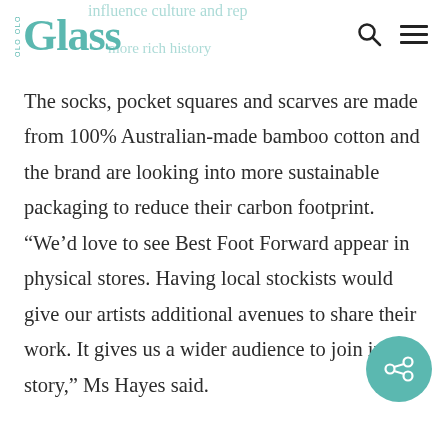Glass
The socks, pocket squares and scarves are made from 100% Australian-made bamboo cotton and the brand are looking into more sustainable packaging to reduce their carbon footprint. “We’d love to see Best Foot Forward appear in physical stores. Having local stockists would give our artists additional avenues to share their work. It gives us a wider audience to join in our story,” Ms Hayes said.